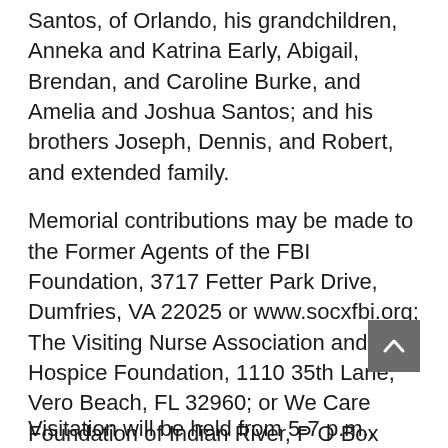Santos, of Orlando, his grandchildren, Anneka and Katrina Early, Abigail, Brendan, and Caroline Burke, and Amelia and Joshua Santos; and his brothers Joseph, Dennis, and Robert, and extended family.
Memorial contributions may be made to the Former Agents of the FBI Foundation, 3717 Fetter Park Drive, Dumfries, VA 22025 or www.socxfbi.org; The Visiting Nurse Association and Hospice Foundation, 1110 35th Lane, Vero Beach, FL 32960; or We Care Foundation of Indian River, P O Box 573, Vero Beach 32961, or www.wecareofirc.org in memory of David C. Callan.
Visitation will be held from 5-7 p.m.,